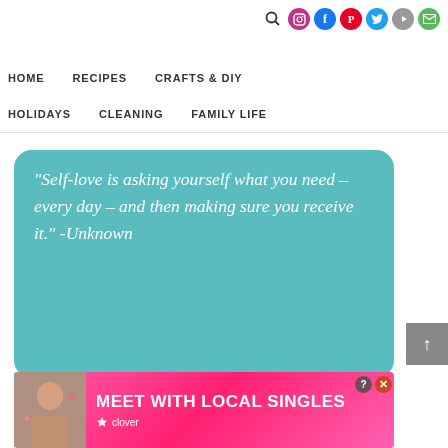Navigation bar with social icons: Search, Instagram, Facebook, Pinterest, Twitter, YouTube, Email
HOME
RECIPES
CRAFTS & DIY
HOLIDAYS
CLEANING
FAMILY LIFE
[Figure (illustration): Teal/turquoise rounded rectangle containing an italic white quote about self-love]
“Self-love is asking yourself what you need – every day – and then making sure you receive it.” -Unknown
[Figure (infographic): Pink advertisement banner reading MEET WITH LOCAL SINGLES by Clover app, with woman photo on left]